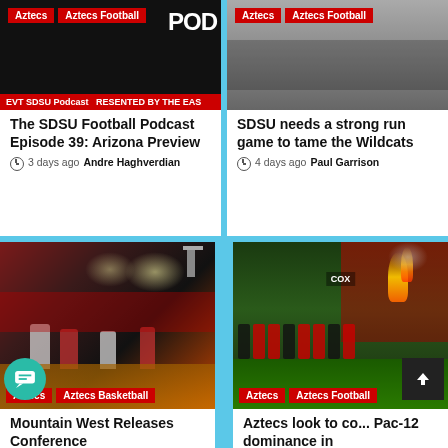[Figure (photo): SDSU Football Podcast thumbnail with dark background and red tags]
[Figure (photo): SDSU vs Wildcats football game photo]
The SDSU Football Podcast Episode 39: Arizona Preview
3 days ago  Andre Haghverdian
SDSU needs a strong run game to tame the Wildcats
4 days ago  Paul Garrison
[Figure (photo): Basketball game action photo with Aztecs tags]
[Figure (photo): Football players entering stadium with pyrotechnics, Aztecs tags]
Mountain West Releases Conference
Aztecs look to co... Pac-12 dominance in